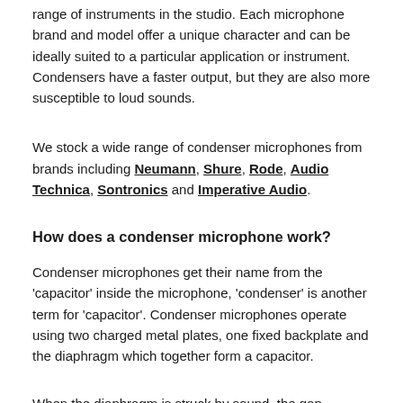range of instruments in the studio. Each microphone brand and model offer a unique character and can be ideally suited to a particular application or instrument. Condensers have a faster output, but they are also more susceptible to loud sounds.
We stock a wide range of condenser microphones from brands including Neumann, Shure, Rode, Audio Technica, Sontronics and Imperative Audio.
How does a condenser microphone work?
Condenser microphones get their name from the 'capacitor' inside the microphone, 'condenser' is another term for 'capacitor'. Condenser microphones operate using two charged metal plates, one fixed backplate and the diaphragm which together form a capacitor.
When the diaphragm is struck by sound, the gap between the plates changes which produces a capacitance. The motion of the diaphragm in relation to the backplate is what produces an electrical signal. That signal corresponds to the sound that is being picked up by the